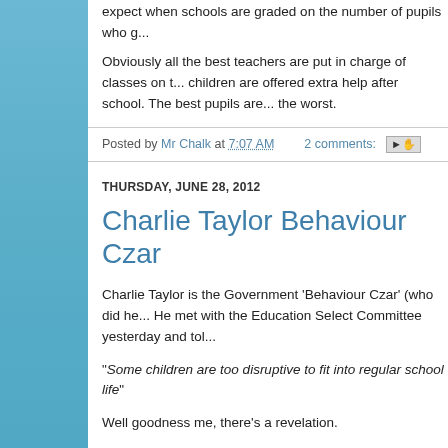expect when schools are graded on the number of pupils who g...
Obviously all the best teachers are put in charge of classes on t... children are offered extra help after school. The best pupils are... the worst.
Posted by Mr Chalk at 7:07 AM   2 comments:
THURSDAY, JUNE 28, 2012
Charlie Taylor Behaviour Czar
Charlie Taylor is the Government 'Behaviour Czar' (who did he... He met with the Education Select Committee yesterday and tol...
"Some children are too disruptive to fit into regular school life"
Well goodness me, there's a revelation.
Now you might imagine that his solution would be to send them... those lines. but no, they must not be blamed or punished for the... that 'help and support' are what's needed. God save us.
It wasn't long before he degenerated into complete gibberish wi...